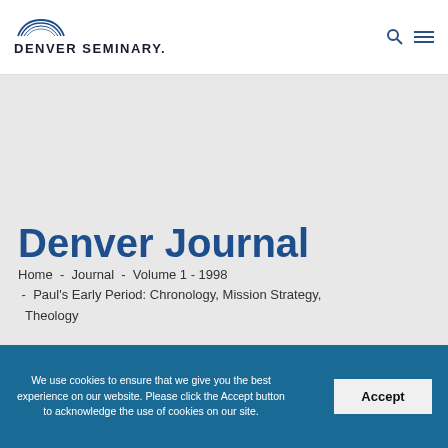DENVER SEMINARY.
Denver Journal
Home - Journal - Volume 1 - 1998 - Paul's Early Period: Chronology, Mission Strategy, Theology
We use cookies to ensure that we give you the best experience on our website. Please click the Accept button to acknowledge the use of cookies on our site.